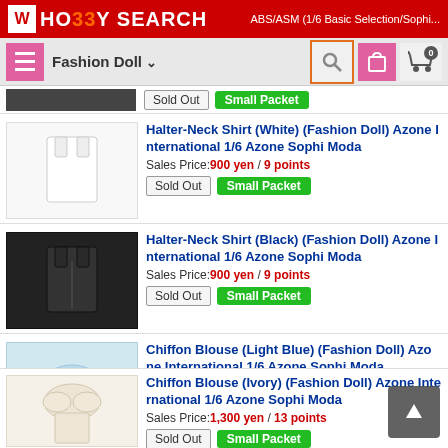HO33Y SEARCH | ABS/ASM (1/6 Basic Selection/Sophi...
Fashion Doll
Sold Out  Small Packet
Halter-Neck Shirt (White) (Fashion Doll) Azone International 1/6 Azone Sophi Moda
Sales Price: 900 yen / 9 points
Sold Out  Small Packet
Halter-Neck Shirt (Black) (Fashion Doll) Azone International 1/6 Azone Sophi Moda
Sales Price: 900 yen / 9 points
Sold Out  Small Packet
Chiffon Blouse (Light Blue) (Fashion Doll) Azone International 1/6 Azone Sophi Moda
Sales Price: 1,300 yen / 13 points
Sold Out  Small Packet
Chiffon Blouse (Ivory) (Fashion Doll) Azone International 1/6 Azone Sophi Moda
Sales Price: 1,300 yen / 13 points
Sold Out  Small Packet